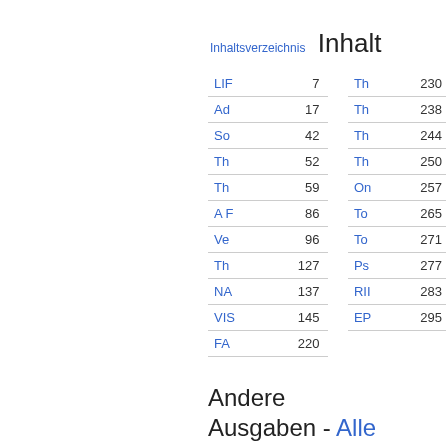Inhaltsverzeichnis
Inhalt
| Entry | Page |  | Entry | Page |
| --- | --- | --- | --- | --- |
| LIF | 7 |  | Th | 230 |
| Ad | 17 |  | Th | 238 |
| So | 42 |  | Th | 244 |
| Th | 52 |  | Th | 250 |
| Th | 59 |  | On | 257 |
| A F | 86 |  | To | 265 |
| Ve | 96 |  | To | 271 |
| Th | 127 |  | Ps | 277 |
| NA | 137 |  | RII | 283 |
| VIS | 145 |  | EP | 295 |
| FA | 220 |  |  |  |
Andere Ausgaben - Alle